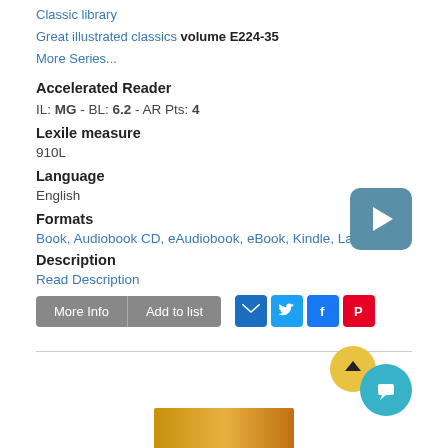Classic library
Great illustrated classics volume E224-35
More Series...
Accelerated Reader
IL: MG - BL: 6.2 - AR Pts: 4
Lexile measure
910L
Language
English
Formats
Book, Audiobook CD, eAudiobook, eBook, Kindle, Large Print
Description
Read Description
[Figure (screenshot): Play button (video) — teal/blue rounded square with white triangle]
[Figure (screenshot): Social sharing buttons: email, Twitter, Facebook, Pinterest icons]
[Figure (screenshot): Scroll-to-top yellow circle button with upward arrow, and teal chat bubble circle button]
[Figure (photo): Book thumbnail image at bottom, showing gold/amber gradient cover]